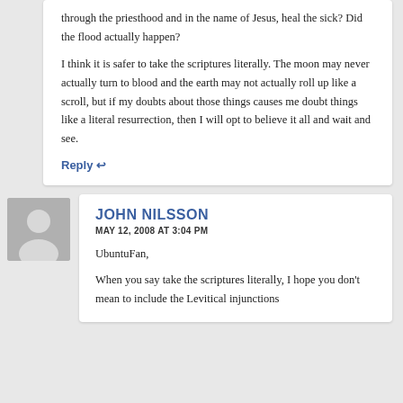through the priesthood and in the name of Jesus, heal the sick? Did the flood actually happen?
I think it is safer to take the scriptures literally. The moon may never actually turn to blood and the earth may not actually roll up like a scroll, but if my doubts about those things causes me doubt things like a literal resurrection, then I will opt to believe it all and wait and see.
Reply ↩
JOHN NILSSON
MAY 12, 2008 AT 3:04 PM
UbuntuFan,
When you say take the scriptures literally, I hope you don't mean to include the Levitical injunctions